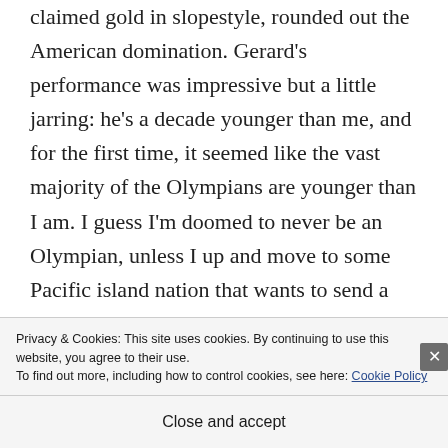every bit a 17-year-old boy as he claimed gold in slopestyle, rounded out the American domination. Gerard's performance was impressive but a little jarring: he's a decade younger than me, and for the first time, it seemed like the vast majority of the Olympians are younger than I am. I guess I'm doomed to never be an Olympian, unless I up and move to some Pacific island nation that wants to send a mediocre cross-
Privacy & Cookies: This site uses cookies. By continuing to use this website, you agree to their use.
To find out more, including how to control cookies, see here: Cookie Policy
Close and accept